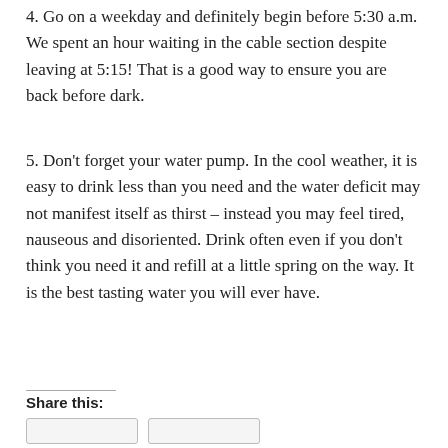4. Go on a weekday and definitely begin before 5:30 a.m. We spent an hour waiting in the cable section despite leaving at 5:15! That is a good way to ensure you are back before dark.
5. Don't forget your water pump. In the cool weather, it is easy to drink less than you need and the water deficit may not manifest itself as thirst – instead you may feel tired, nauseous and disoriented. Drink often even if you don't think you need it and refill at a little spring on the way. It is the best tasting water you will ever have.
Share this: